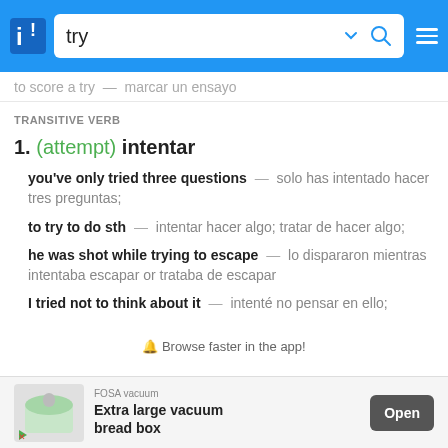try
to score a try — marcar un ensayo
TRANSITIVE VERB
1. (attempt) intentar
you've only tried three questions — solo has intentado hacer tres preguntas;
to try to do sth — intentar hacer algo; tratar de hacer algo;
he was shot while trying to escape — lo dispararon mientras intentaba escapar or trataba de escapar
I tried not to think about it — intenté no pensar en ello;
🔔 Browse faster in the app!
[Figure (screenshot): Advertisement for FOSA vacuum Extra large vacuum bread box with Open button]